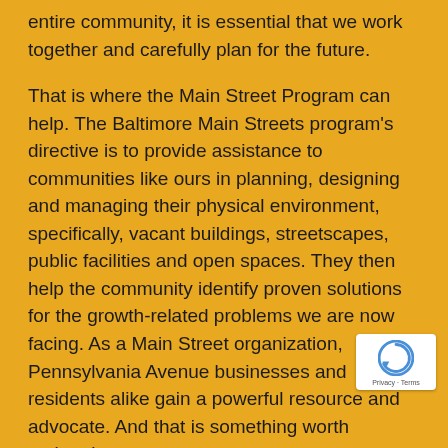entire community, it is essential that we work together and carefully plan for the future.
That is where the Main Street Program can help. The Baltimore Main Streets program's directive is to provide assistance to communities like ours in planning, designing and managing their physical environment, specifically, vacant buildings, streetscapes, public facilities and open spaces. They then help the community identify proven solutions for the growth-related problems we are now facing. As a Main Street organization, Pennsylvania Avenue businesses and residents alike gain a powerful resource and advocate. And that is something worth embracing.
These are exciting times for Pennsylvania Ave...